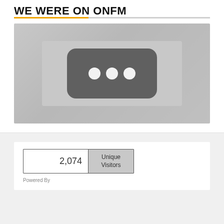WE WERE ON ONFM
[Figure (screenshot): Blurred/placeholder video thumbnail showing a dark rounded rectangle with three white dots on a light gray background, resembling a YouTube or video embed placeholder.]
[Figure (infographic): Visitor counter widget showing 2,074 Unique Visitors with a 'Powered By' label below.]